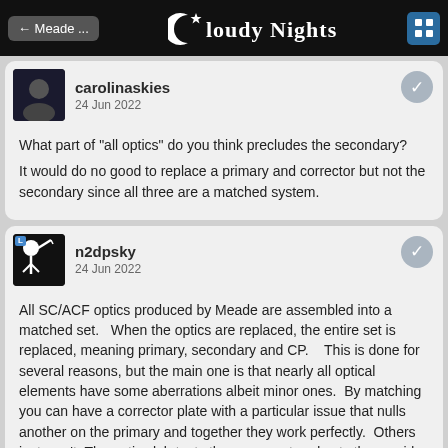← Meade ...   Cloudy Nights
carolinaskies
24 Jun 2022
What part of "all optics" do you think precludes the secondary?
It would do no good to replace a primary and corrector but not the secondary since all three are a matched system.
n2dpsky
24 Jun 2022
All SC/ACF optics produced by Meade are assembled into a matched set.   When the optics are replaced, the entire set is replaced, meaning primary, secondary and CP.    This is done for several reasons, but the main one is that nearly all optical elements have some aberrations albeit minor ones.  By matching you can have a corrector plate with a particular issue that nulls another on the primary and together they work perfectly.  Others just won't. The optics lab tests them as a set and sets them aside for final assembly.
Hope this helps.